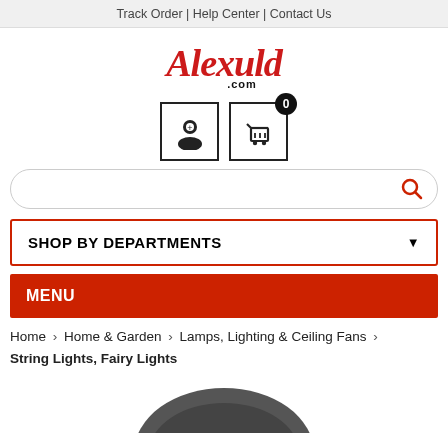Track Order | Help Center | Contact Us
[Figure (logo): Alexuld.com logo in red cursive script with black .com]
[Figure (illustration): User account icon and shopping cart icon with badge showing 0 items]
Search bar with magnifying glass icon
SHOP BY DEPARTMENTS (dropdown)
MENU
Home > Home & Garden > Lamps, Lighting & Ceiling Fans > String Lights, Fairy Lights
[Figure (photo): Partial product image at bottom - dark circular object]